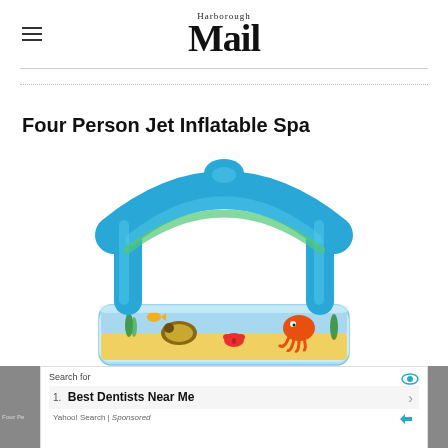Harborough Mail
Four Person Jet Inflatable Spa
[Figure (photo): Inflatable children's pool with a blue arched canopy/roof and ocean-themed sides featuring cartoon sea creatures including a turtle, octopus, crab, and fish on a sandy/yellow and blue background]
Search for
1. Best Dentists Near Me
Yahoo! Search | Sponsored